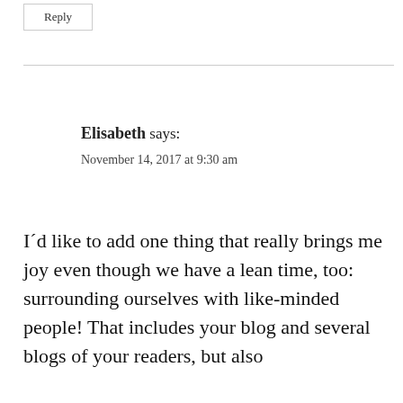Reply
Elisabeth says:
November 14, 2017 at 9:30 am
I´d like to add one thing that really brings me joy even though we have a lean time, too: surrounding ourselves with like-minded people! That includes your blog and several blogs of your readers, but also